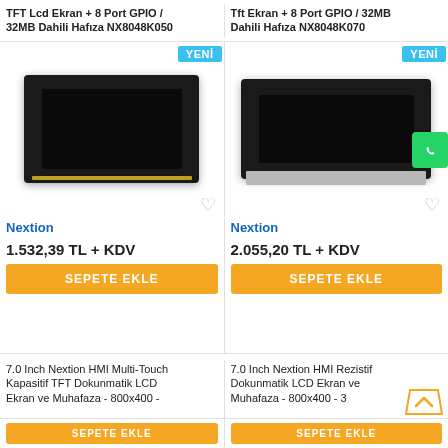TFT Lcd Ekran + 8 Port GPIO / 32MB Dahili Hafıza NX8048K050
Tft Ekran + 8 Port GPIO / 32MB Dahili Hafıza NX8048K070
[Figure (photo): Nextion HMI TFT LCD touchscreen module with black bezel, showing dark screen]
[Figure (photo): Nextion HMI TFT LCD touchscreen module wider format with black bezel]
Nextion
Nextion
1.532,39 TL + KDV
2.055,20 TL + KDV
SEPETE EKLE
SEPETE EKLE
7.0 Inch Nextion HMI Multi-Touch Kapasitif TFT Dokunmatik LCD Ekran ve Muhafaza - 800x400 -
7.0 Inch Nextion HMI Rezistif Dokunmatik LCD Ekran ve Muhafaza - 800x400 - 3